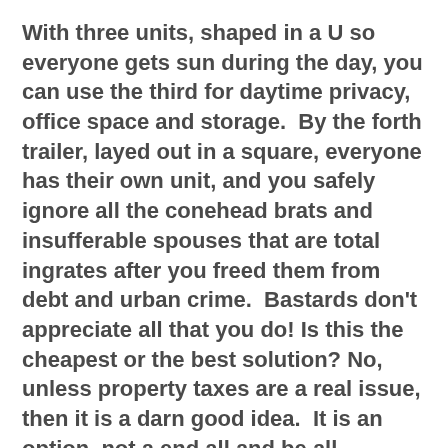With three units, shaped in a U so everyone gets sun during the day, you can use the third for daytime privacy, office space and storage.  By the forth trailer, layed out in a square, everyone has their own unit, and you safely ignore all the conehead brats and insufferable spouses that are total ingrates after you freed them from debt and urban crime.  Bastards don't appreciate all that you do! Is this the cheapest or the best solution? No, unless property taxes are a real issue, then it is a darn good idea.  It is an option, not a end all and be all.
END ( today's related link http://aman.to/3uKO9wl )